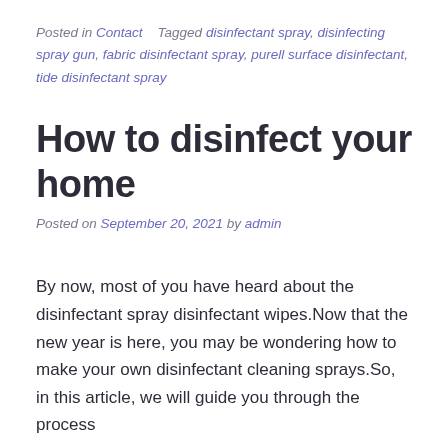Posted in Contact   Tagged disinfectant spray, disinfecting spray gun, fabric disinfectant spray, purell surface disinfectant, tide disinfectant spray
How to disinfect your home
Posted on September 20, 2021 by admin
By now, most of you have heard about the disinfectant spray disinfectant wipes.Now that the new year is here, you may be wondering how to make your own disinfectant cleaning sprays.So, in this article, we will guide you through the process